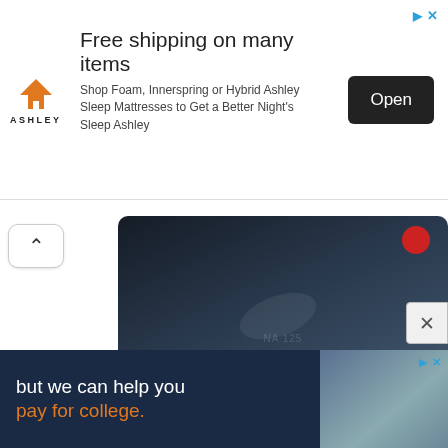[Figure (screenshot): Ashley furniture advertisement banner with logo, 'Free shipping on many items' headline, mattress shop description, and Open button]
[Figure (photo): MCAT Biology Review thumbnail image showing dark studio/equipment background with 'MCAT Biology Review' title bar overlay]
[Figure (screenshot): Bottom advertisement: 'but we can help you pay for college.' on dark blue background with photo]